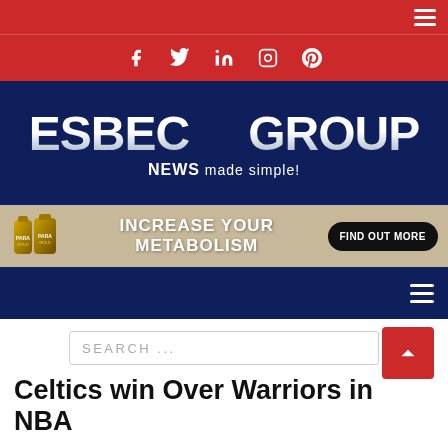ESBECGROUP NEWS made simple! [hamburger menu]
[Figure (logo): ESBECGROUP logo on dark navy background with tagline NEWS made simple!]
[Figure (infographic): Advertisement banner: INCREASE YOUR METABOLISM - FIND OUT MORE with product bottles on tan/khaki background]
[hamburger menu navigation]
SEARCH ...
Celtics win Over Warriors in NBA